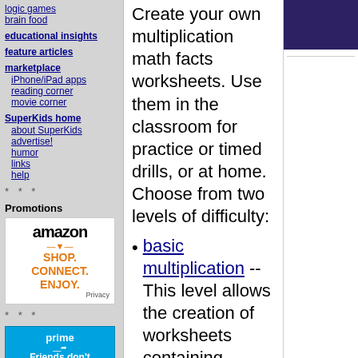logic games
brain food
educational insights
feature articles
marketplace
iPhone/iPad apps
reading corner
movie corner
SuperKids home
about SuperKids
advertise!
humor
links
help
* * *
Promotions
[Figure (other): Amazon advertisement: SHOP. CONNECT. ENJOY.]
* * *
[Figure (other): Amazon Prime advertisement: prime Friends don't]
Create your own multiplication math facts worksheets. Use them in the classroom for practice or timed drills, or at home. Choose from two levels of difficulty:
basic multiplication -- This level allows the creation of worksheets containing positive whole numbers and zero. Mimimum and maximum values can be specified from 0 to 1,000
advanced multiplication --
[Figure (other): Dark purple/navy rectangle in top-right corner]